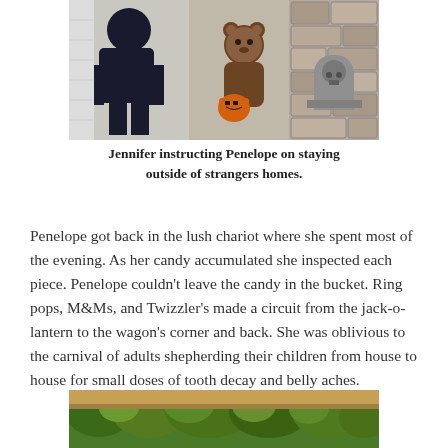[Figure (photo): Photo of Jennifer crouching down instructing Penelope in a brown bear costume holding an orange jack-o-lantern bucket, near a stone wall doorway with a decorative tombstone.]
Jennifer instructing Penelope on staying outside of strangers homes.
Penelope got back in the lush chariot where she spent most of the evening. As her candy accumulated she inspected each piece. Penelope couldn't leave the candy in the bucket. Ring pops, M&Ms, and Twizzler's made a circuit from the jack-o-lantern to the wagon's corner and back. She was oblivious to the carnival of adults shepherding their children from house to house for small doses of tooth decay and belly aches.
[Figure (photo): Partial photo at bottom of page showing a wagon or stroller partially obscured by green foliage/plants.]